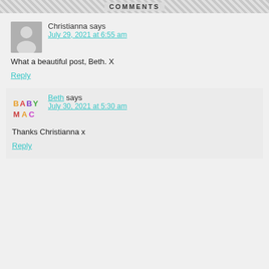COMMENTS
Christianna says
July 29, 2021 at 6:55 am
What a beautiful post, Beth. X
Reply
Beth says
July 30, 2021 at 5:30 am
Thanks Christianna x
Reply